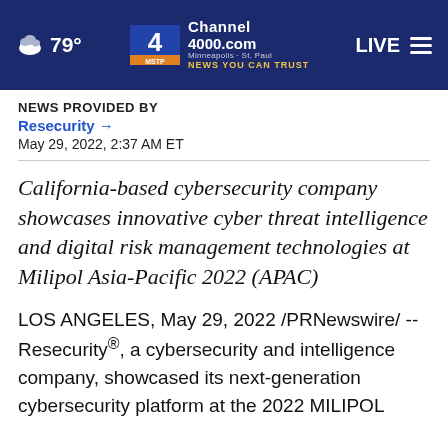[Figure (screenshot): Channel 4000.com news website header bar with weather icon showing cloud and 79°, Channel 4 MSTP logo, 'NEWS YOU CAN TRUST' tagline, LIVE button, and hamburger menu on dark navy background]
NEWS PROVIDED BY
Resecurity →
May 29, 2022, 2:37 AM ET
California-based cybersecurity company showcases innovative cyber threat intelligence and digital risk management technologies at Milipol Asia-Pacific 2022 (APAC)
LOS ANGELES, May 29, 2022 /PRNewswire/ -- Resecurity®, a cybersecurity and intelligence company, showcased its next-generation cybersecurity platform at the 2022 MILIPOL